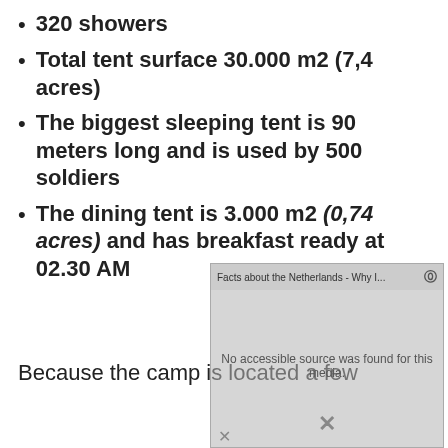320 showers
Total tent surface 30.000 m2 (7,4 acres)
The biggest sleeping tent is 90 meters long and is used by 500 soldiers
The dining tent is 3.000 m2 (0,74 acres) and has breakfast ready at 02.30 AM
Because the camp is located a few
[Figure (screenshot): Video player popup overlay showing 'Facts about the Netherlands - Why I...' with message 'No accessible source was found for this media.' and a close button]